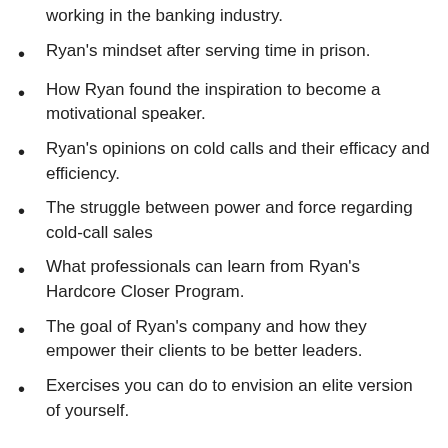working in the banking industry.
Ryan's mindset after serving time in prison.
How Ryan found the inspiration to become a motivational speaker.
Ryan's opinions on cold calls and their efficacy and efficiency.
The struggle between power and force regarding cold-call sales
What professionals can learn from Ryan's Hardcore Closer Program.
The goal of Ryan's company and how they empower their clients to be better leaders.
Exercises you can do to envision an elite version of yourself.